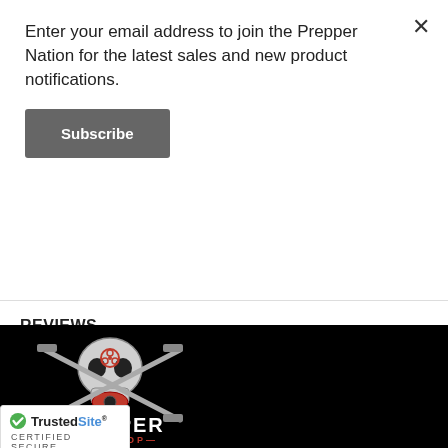Enter your email address to join the Prepper Nation for the latest sales and new product notifications.
Subscribe
REVIEWS
[Figure (logo): Prepper Gun Shop logo with skull, crossed rifles, biohazard symbol and gas mask]
[Figure (logo): TrustedSite CERTIFIED SECURE badge with green checkmark]